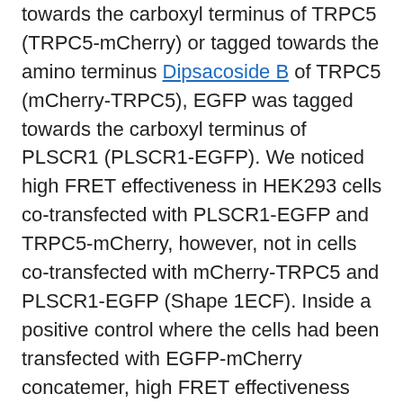towards the carboxyl terminus of TRPC5 (TRPC5-mCherry) or tagged towards the amino terminus Dipsacoside B of TRPC5 (mCherry-TRPC5), EGFP was tagged towards the carboxyl terminus of PLSCR1 (PLSCR1-EGFP). We noticed high FRET effectiveness in HEK293 cells co-transfected with PLSCR1-EGFP and TRPC5-mCherry, however, not in cells co-transfected with mCherry-TRPC5 and PLSCR1-EGFP (Shape 1ECF). Inside a positive control where the cells had been transfected with EGFP-mCherry concatemer, high FRET effectiveness was recognized. In a poor control, where the cells had been co-transfected with mCherry and EGFP as distinct build, no FRET sign was noticed (Shape 1ECF). Taken collectively, these outcomes indicated how the carboxyl however, not the amino terminal of TRPC5 can be closely from the carboxyl terminal of PLSCR1. 3.2. TRPC5 Encourages PS Externalization in HEK293 Cells PS